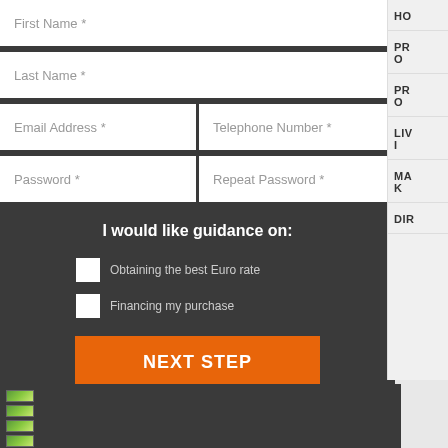First Name *
Last Name *
Email Address *
Telephone Number *
Password *
Repeat Password *
I would like guidance on:
Obtaining the best Euro rate
Financing my purchase
NEXT STEP